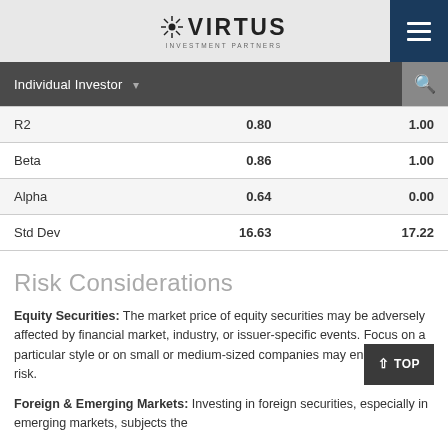VIRTUS INVESTMENT PARTNERS
Individual Investor
|  | Fund | Benchmark |
| --- | --- | --- |
| R2 | 0.80 | 1.00 |
| Beta | 0.86 | 1.00 |
| Alpha | 0.64 | 0.00 |
| Std Dev | 16.63 | 17.22 |
Risk Considerations
Equity Securities: The market price of equity securities may be adversely affected by financial market, industry, or issuer-specific events. Focus on a particular style or on small or medium-sized companies may enhance that risk.
Foreign & Emerging Markets: Investing in foreign securities, especially in emerging markets, subjects the